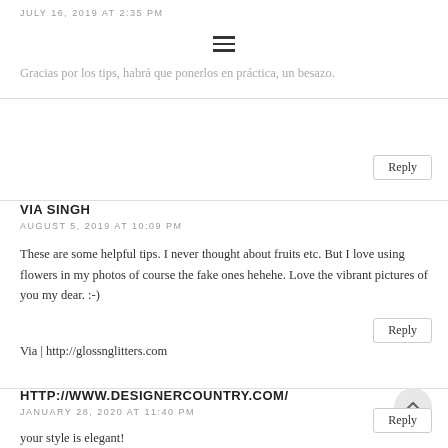JULY 16, 2019 AT 2:35 PM
[Figure (other): Hamburger menu icon (three horizontal lines)]
Gracias por los tips, habrá que ponerlos en práctica, un besazo.
Reply
VIA SINGH
AUGUST 5, 2019 AT 10:09 PM
These are some helpful tips. I never thought about fruits etc. But I love using flowers in my photos of course the fake ones hehehe. Love the vibrant pictures of you my dear. :-)
Via | http://glossnglitters.com
Reply
HTTP://WWW.DESIGNERCOUNTRY.COM/
JANUARY 28, 2020 AT 11:40 PM
your style is elegant!
Reply